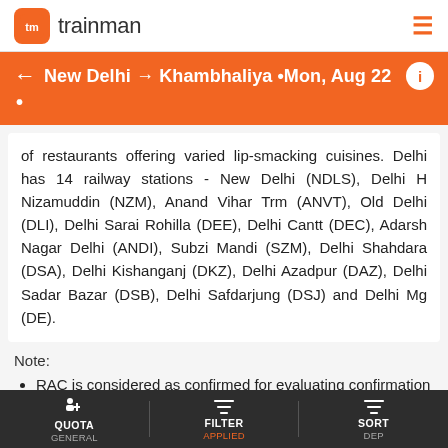tm trainman [hamburger menu]
← New Delhi → Khambhaliya • Mon, Aug 22 •
of restaurants offering varied lip-smacking cuisines. Delhi has 14 railway stations - New Delhi (NDLS), Delhi H Nizamuddin (NZM), Anand Vihar Trm (ANVT), Old Delhi (DLI), Delhi Sarai Rohilla (DEE), Delhi Cantt (DEC), Adarsh Nagar Delhi (ANDI), Subzi Mandi (SZM), Delhi Shahdara (DSA), Delhi Kishanganj (DKZ), Delhi Azadpur (DAZ), Delhi Sadar Bazar (DSB), Delhi Safdarjung (DSJ) and Delhi Mg (DE).
Note:
RAC is considered as confirmed for evaluating confirmation chances.
Colors under confirmation chances mean following:
- Not likely to confirm.
QUOTA GENERAL | FILTER APPLIED | SORT DEP